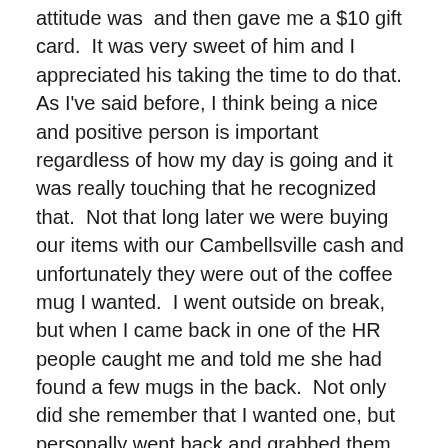attitude was  and then gave me a $10 gift card.  It was very sweet of him and I appreciated his taking the time to do that.  As I've said before, I think being a nice and positive person is important regardless of how my day is going and it was really touching that he recognized that.  Not that long later we were buying our items with our Cambellsville cash and unfortunately they were out of the coffee mug I wanted.  I went outside on break, but when I came back in one of the HR people caught me and told me she had found a few mugs in the back.  Not only did she remember that I wanted one, but personally went back and grabbed them for us and we got the last two with handles.  Again very sweet, and it was so nice of her to go to that kind of trouble,
With those two experiences fresh in my head I really wanted to take a moment and answer the question I have